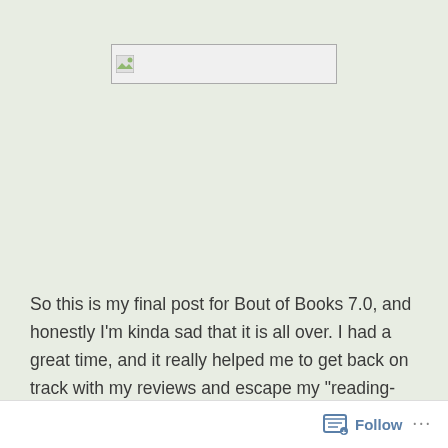[Figure (other): Broken/placeholder image box with small image icon at top center]
So this is my final post for Bout of Books 7.0, and honestly I’m kinda sad that it is all over. I had a great time, and it really helped me to get back on track with my reviews and escape my “reading-slump-of-doom” which I couldn’t seem to outrun for long.
Follow ...